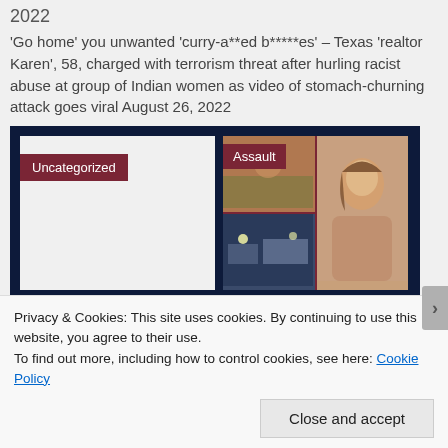2022
'Go home' you unwanted 'curry-a**ed b*****es' – Texas 'realtor Karen', 58, charged with terrorism threat after hurling racist abuse at group of Indian women as video of stomach-churning attack goes viral August 26, 2022
[Figure (screenshot): Two article thumbnail cards on dark navy background. Left card: white/light background with 'Uncategorized' dark red tag. Right card: collage of photos (outdoor scene, woman's mugshot, nighttime scene) with 'Assault' dark red tag.]
Privacy & Cookies: This site uses cookies. By continuing to use this website, you agree to their use.
To find out more, including how to control cookies, see here: Cookie Policy
Close and accept